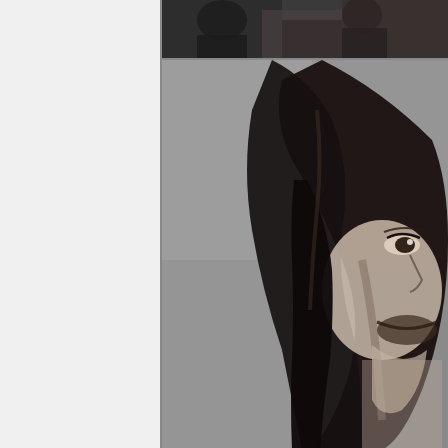[Figure (photo): Left white/light gray blank panel occupying roughly the left third of the page]
[Figure (photo): Black and white photograph (top strip) showing partial figures, dark clothing, appears to be a cropped group or portrait shot]
[Figure (photo): Black and white close-up portrait photograph of a person with long dark hair, visible eye looking upward, partial face with mustache/beard, shot from low angle against a gray background]